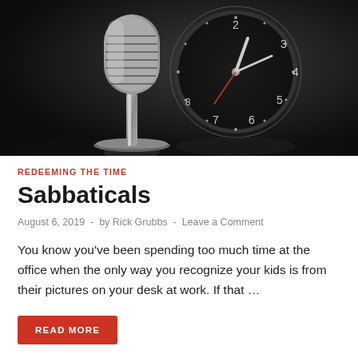[Figure (photo): A vintage silver microphone in the foreground and a round analog clock in the background, both metallic, on a dark reflective surface. Black and white tones with dramatic lighting.]
REDEEMING THE TIME
Sabbaticals
August 6, 2019  -  by Rick Grubbs  -  Leave a Comment
You know you've been spending too much time at the office when the only way you recognize your kids is from their pictures on your desk at work. If that ...
READ MORE